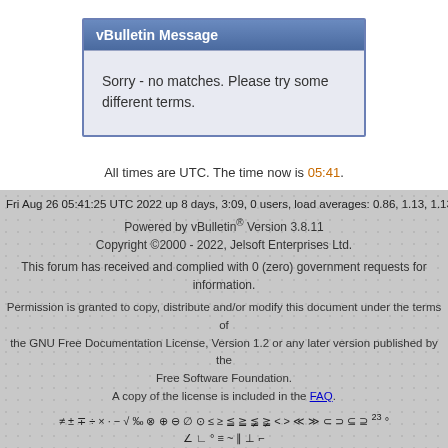vBulletin Message
Sorry - no matches. Please try some different terms.
All times are UTC. The time now is 05:41.
Fri Aug 26 05:41:25 UTC 2022 up 8 days, 3:09, 0 users, load averages: 0.86, 1.13, 1.13
Powered by vBulletin® Version 3.8.11
Copyright ©2000 - 2022, Jelsoft Enterprises Ltd.
This forum has received and complied with 0 (zero) government requests for information.
Permission is granted to copy, distribute and/or modify this document under the terms of the GNU Free Documentation License, Version 1.2 or any later version published by the Free Software Foundation.
A copy of the license is included in the FAQ.
≠ ± ∓ ÷ × · − √ ‰ ⊗ ⊕ ⊖ ∅ ⊙ ≤ ≥ ≦ ≧ ≨ ≩ < > ≪ ≫ ⊂ ⊃ ⊆ ⊇ ² ³ °
∠ ∟ ° ≡ ~ ∥ ⊥ ⌐
≡ ≜ = α ∞ ≪ ≫ || |⌡| • ∩ ∐ ∑ ∧ ∨ ∩ ∪ ⊙ ⊕ ⊗ ⌈⌉⌊⌋ ◁ ▷
⊘ \ C ↦ ↠ ∩ ∪ ⊆ ⊂ ⊄ ⊆ ⊇ ⊅ ⊅ ⊇ Θ ∈ ∉ ∋ ∌ N Z Q R C ℵ ⊅ ⌐ ⌐⌐
¬ ∨ ∧ ⊕ → ← ⇒ ⇐ ⇔ ∀ ∃ ∄∵∴ T ⊥ ⊢ ⊨ ⊡ ⊣ … ⋯ ⋮ ⋱
∫ ∬ ∭ ∮ ∯ ⊞ ∇ Δ δ ∂ ℒ ℓ